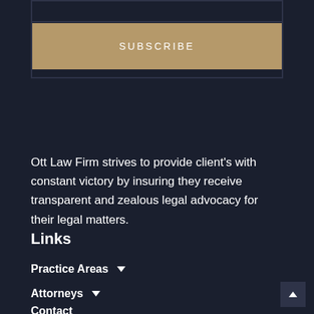SUBSCRIBE
Ott Law Firm strives to provide client's with constant victory by insuring they receive transparent and zealous legal advocacy for their legal matters.
Links
Practice Areas
Attorneys
Contact